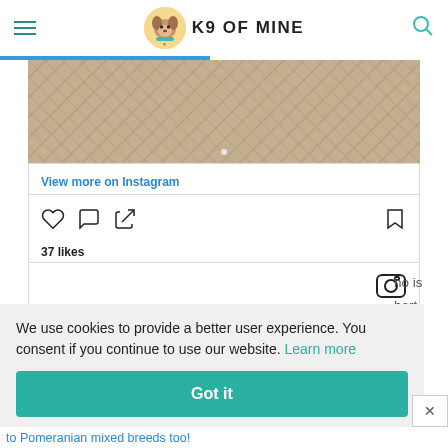K9 OF MINE
[Figure (photo): Partial Instagram embed showing a stone or sandy textured surface photo with an overlay dot indicator]
View more on Instagram
[Figure (infographic): Instagram action icons: heart (like), comment bubble, share (upload arrow), and bookmark icon, with 37 likes count and Instagram camera icon]
37 likes
We use cookies to provide a better user experience. You consent if you continue to use our website. Learn more
Got it
to Pomeranian mixed breeds too!